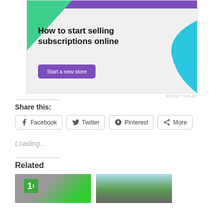[Figure (illustration): Advertisement banner for selling subscriptions online. Purple bar at top, green triangle shape at top-left, blue curved shape at right. Bold text 'How to start selling subscriptions online' with a purple 'Start a new store' button.]
REPORT THIS AD
Share this:
Facebook  Twitter  Pinterest  More
Loading...
Related